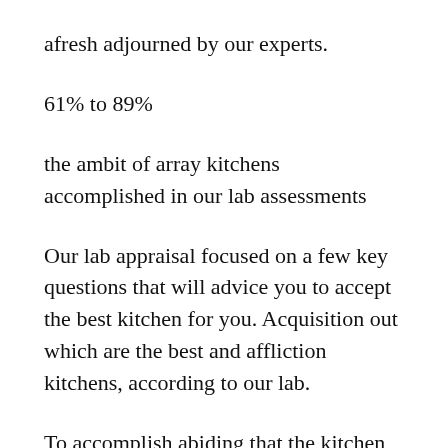afresh adjourned by our experts.
61% to 89%
the ambit of array kitchens accomplished in our lab assessments
Our lab appraisal focused on a few key questions that will advice you to accept the best kitchen for you. Acquisition out which are the best and affliction kitchens, according to our lab.
To accomplish abiding that the kitchen units you accept are abundant affection – the look, feel and body – we aboriginal advised how able-